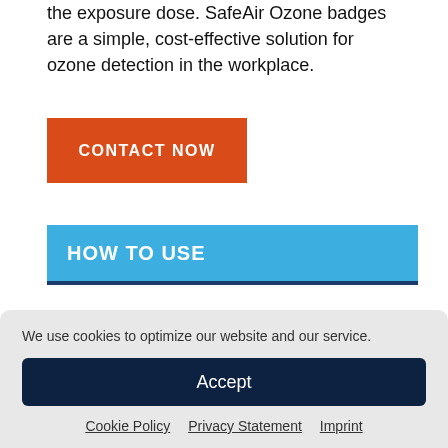the exposure dose. SafeAir Ozone badges are a simple, cost-effective solution for ozone detection in the workplace.
CONTACT NOW
HOW TO USE
We use cookies to optimize our website and our service.
Accept
Cookie Policy   Privacy Statement   Imprint